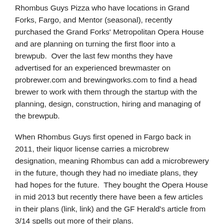Rhombus Guys Pizza who have locations in Grand Forks, Fargo, and Mentor (seasonal), recently purchased the Grand Forks' Metropolitan Opera House and are planning on turning the first floor into a brewpub.  Over the last few months they have advertised for an experienced brewmaster on probrewer.com and brewingworks.com to find a head brewer to work with them through the startup with the planning, design, construction, hiring and managing of the brewpub.
When Rhombus Guys first opened in Fargo back in 2011, their liquor license carries a microbrew designation, meaning Rhombus can add a microbrewery in the future, though they had no imediate plans, they had hopes for the future.  They bought the Opera House in mid 2013 but recently there have been a few articles in their plans (link, link) and the GF Herald's article from 3/14 spells out more of their plans.
Rhombus Guys fine tuning